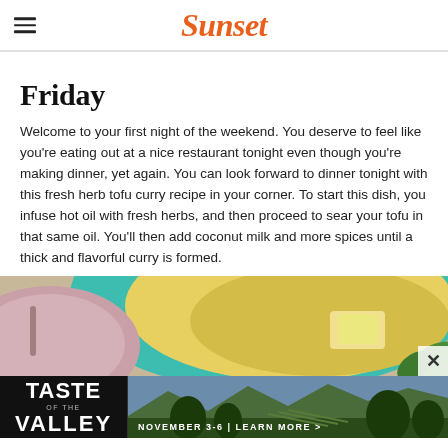Sunset
Friday
Welcome to your first night of the weekend. You deserve to feel like you're eating out at a nice restaurant tonight even though you're making dinner, yet again. You can look forward to dinner tonight with this fresh herb tofu curry recipe in your corner. To start this dish, you infuse hot oil with fresh herbs, and then proceed to sear your tofu in that same oil. You'll then add coconut milk and more spices until a thick and flavorful curry is formed.
[Figure (photo): A bowl of green curry with tofu and herbs, served in a teal/turquoise bowl, partial view of a decorative plate to the left.]
[Figure (infographic): Advertisement banner for 'Taste of the Valley' event, November 3-6, with landscape vineyard imagery and 'LEARN MORE >' call to action.]